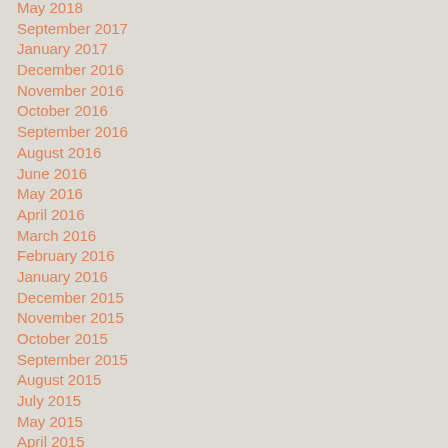May 2018
September 2017
January 2017
December 2016
November 2016
October 2016
September 2016
August 2016
June 2016
May 2016
April 2016
March 2016
February 2016
January 2016
December 2015
November 2015
October 2015
September 2015
August 2015
July 2015
May 2015
April 2015